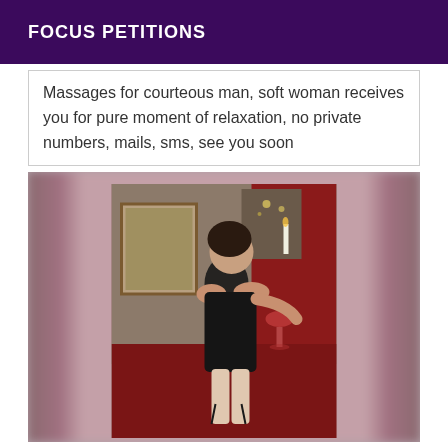FOCUS PETITIONS
Massages for courteous man, soft woman receives you for pure moment of relaxation, no private numbers, mails, sms, see you soon
[Figure (photo): A woman in black lingerie posing in an ornate room with candles and red drapes, holding a wine glass. The image has blurred edges on the sides.]